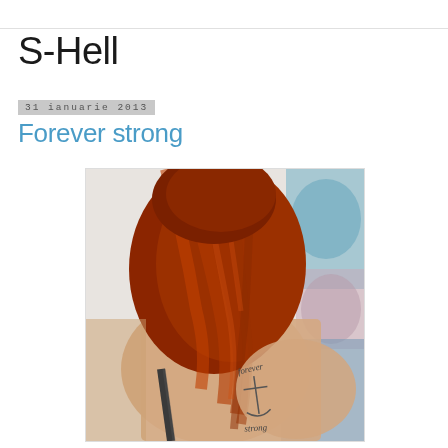S-Hell
31 ianuarie 2013
Forever strong
[Figure (photo): Back view of a woman with long red/auburn hair showing a tattoo on her right shoulder blade that reads 'forever strong' with an anchor/cross design. She is wearing a dark bra strap. Background shows blurred figures in blue and pink.]